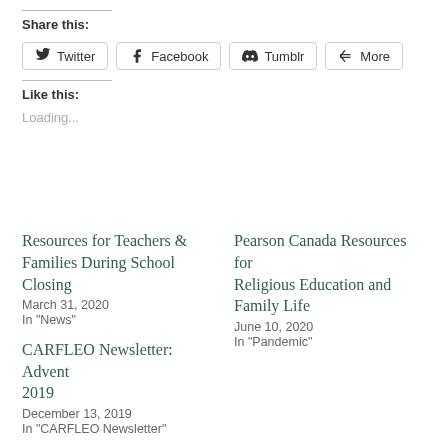Share this:
Twitter  Facebook  Tumblr  More
Like this:
Loading...
Resources for Teachers & Families During School Closing
March 31, 2020
In "News"
Pearson Canada Resources for Religious Education and Family Life
June 10, 2020
In "Pandemic"
CARFLEO Newsletter: Advent 2019
December 13, 2019
In "CARFLEO Newsletter"